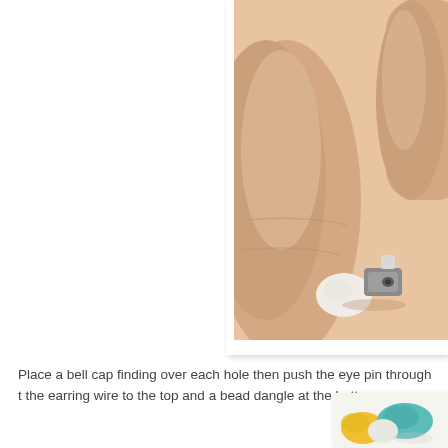[Figure (photo): Close-up photo of fingers holding a small wooden bead and a gray metal eye pin or earring finding component.]
Place a bell cap finding over each hole then push the eye pin through the earring wire to the top and a bead dangle at the bottom.
[Figure (photo): Partial photo at bottom right showing colorful earring components including yellow, teal, and white pieces.]